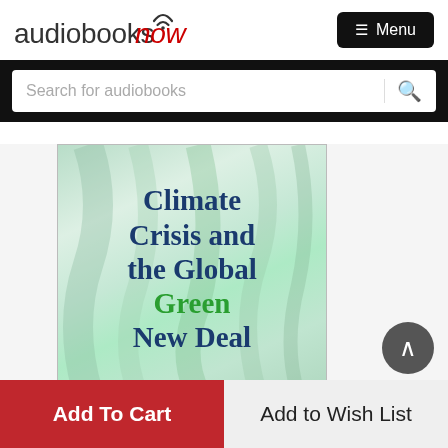[Figure (logo): audiobooksnow logo with wifi icon above the letter 'o']
≡ Menu
Search for audiobooks
[Figure (illustration): Book cover for 'Climate Crisis and the Global Green New Deal' with green abstract background, title in blue and green serif font]
Add To Cart
Add to Wish List